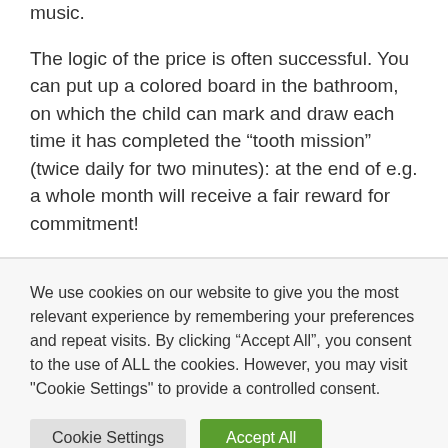music.
The logic of the price is often successful. You can put up a colored board in the bathroom, on which the child can mark and draw each time it has completed the “tooth mission” (twice daily for two minutes): at the end of e.g. a whole month will receive a fair reward for commitment!
We use cookies on our website to give you the most relevant experience by remembering your preferences and repeat visits. By clicking “Accept All”, you consent to the use of ALL the cookies. However, you may visit "Cookie Settings" to provide a controlled consent.